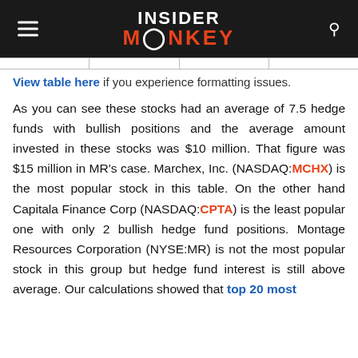INSIDER MONKEY
View table here if you experience formatting issues.
As you can see these stocks had an average of 7.5 hedge funds with bullish positions and the average amount invested in these stocks was $10 million. That figure was $15 million in MR's case. Marchex, Inc. (NASDAQ:MCHX) is the most popular stock in this table. On the other hand Capitala Finance Corp (NASDAQ:CPTA) is the least popular one with only 2 bullish hedge fund positions. Montage Resources Corporation (NYSE:MR) is not the most popular stock in this group but hedge fund interest is still above average. Our calculations showed that top 20 most